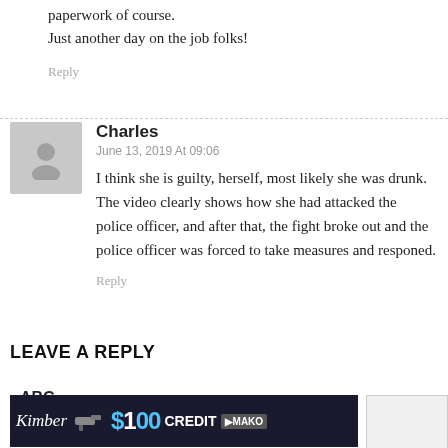paperwork of course.
Just another day on the job folks!
Reply
Charles
June 13, 2019 At 09:06
I think she is guilty, herself, most likely she was drunk. The video clearly shows how she had attacked the police officer, and after that, the fight broke out and the police officer was forced to take measures and responed.
Reply
LEAVE A REPLY
[Figure (other): Spellcheck/ABC checkmark icon]
[Figure (other): Advertisement banner: Kimber gun with $100 CREDIT MAKO text]